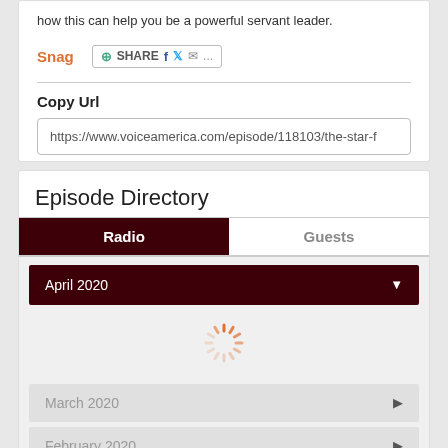how this can help you be a powerful servant leader.
Snag  SHARE
Copy Url
https://www.voiceamerica.com/episode/118103/the-star-f
Episode Directory
Radio  |  Guests
April 2020
March 2020
February 2020
Load All Episodes